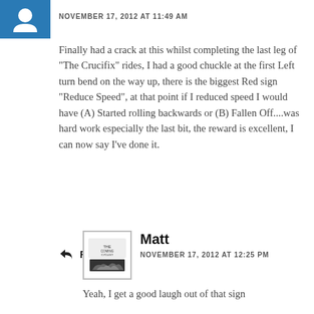NOVEMBER 17, 2012 AT 11:49 AM
Finally had a crack at this whilst completing the last leg of "The Crucifix" rides, I had a good chuckle at the first Left turn bend on the way up, there is the biggest Red sign "Reduce Speed", at that point if I reduced speed I would have (A) Started rolling backwards or (B) Fallen Off....was hard work especially the last bit, the reward is excellent, I can now say I've done it.
Reply
Matt
NOVEMBER 17, 2012 AT 12:25 PM
Yeah, I get a good laugh out of that sign